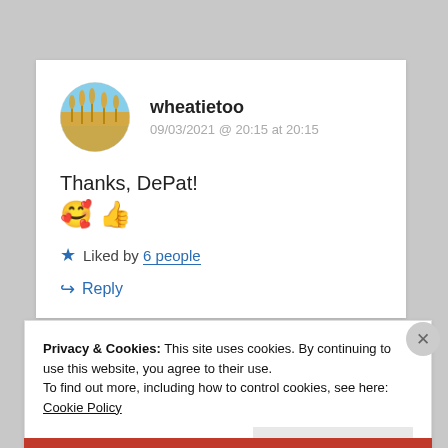[Figure (photo): Circular avatar photo of wheat field with blue sky]
wheatietoo
09/03/2021 @ 20:15 at 20:15
Thanks, DePat!
🥰 👍
★ Liked by 6 people
↪ Reply
Privacy & Cookies: This site uses cookies. By continuing to use this website, you agree to their use.
To find out more, including how to control cookies, see here: Cookie Policy
Close and accept